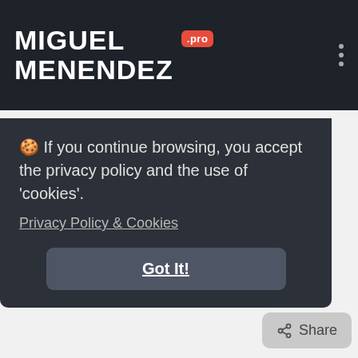MIGUEL MENENDEZ .pro
🍪 If you continue browsing, you accept the privacy policy and the use of 'cookies'.
Privacy Policy & Cookies
Got It!